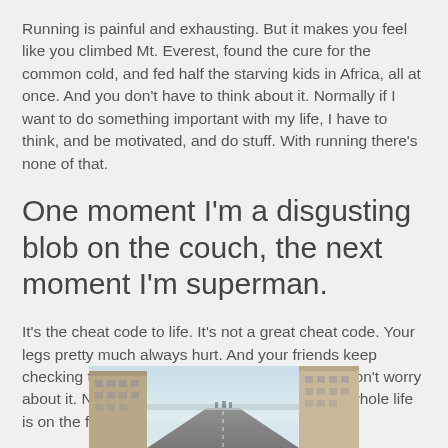Running is painful and exhausting. But it makes you feel like you climbed Mt. Everest, found the cure for the common cold, and fed half the starving kids in Africa, all at once. And you don't have to think about it. Normally if I want to do something important with my life, I have to think, and be motivated, and do stuff. With running there's none of that.
One moment I'm a disgusting blob on the couch, the next moment I'm superman.
It's the cheat code to life. It's not a great cheat code. Your legs pretty much always hurt. And your friends keep checking the obituaries for your name. But you don't worry about it. Nothing worries you. You feel like your whole life is on the fast track to Awesome City.
[Figure (photo): Street-level view looking down an urban street flanked by multi-story buildings on both sides, with a pale sky visible at the vanishing point.]